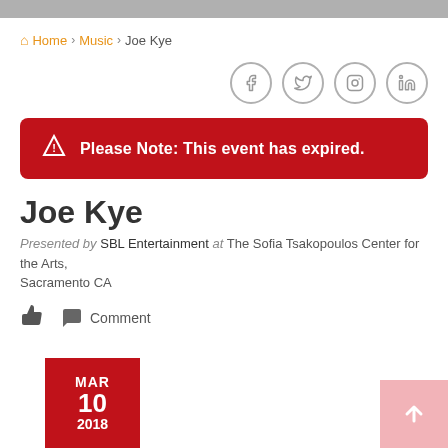Home > Music > Joe Kye
[Figure (other): Social media icons: Facebook, Twitter, Instagram, LinkedIn]
Please Note: This event has expired.
Joe Kye
Presented by SBL Entertainment at The Sofia Tsakopoulos Center for the Arts, Sacramento CA
Comment
MAR 10 2018